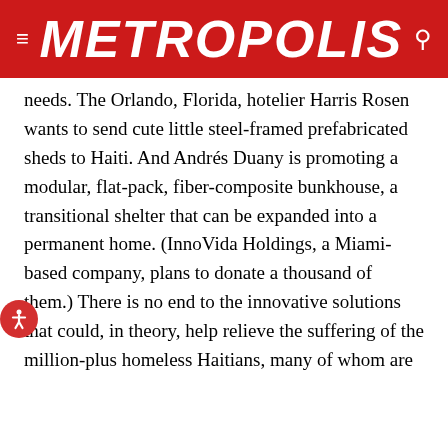METROPOLIS
needs. The Orlando, Florida, hotelier Harris Rosen wants to send cute little steel-framed prefabricated sheds to Haiti. And Andrés Duany is promoting a modular, flat-pack, fiber-composite bunkhouse, a transitional shelter that can be expanded into a permanent home. (InnoVida Holdings, a Miami-based company, plans to donate a thousand of them.) There is no end to the innovative solutions that could, in theory, help relieve the suffering of the million-plus homeless Haitians, many of whom are